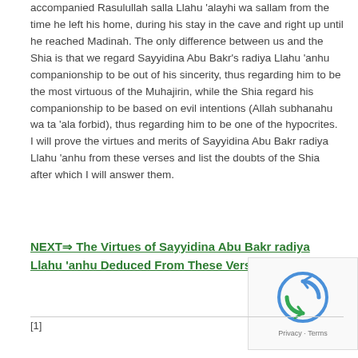accompanied Rasulullah salla Llahu 'alayhi wa sallam from the time he left his home, during his stay in the cave and right up until he reached Madinah. The only difference between us and the Shia is that we regard Sayyidina Abu Bakr's radiya Llahu 'anhu companionship to be out of his sincerity, thus regarding him to be the most virtuous of the Muhajirin, while the Shia regard his companionship to be based on evil intentions (Allah subhanahu wa ta 'ala forbid), thus regarding him to be one of the hypocrites. I will prove the virtues and merits of Sayyidina Abu Bakr radiya Llahu 'anhu from these verses and list the doubts of the Shia after which I will answer them.
NEXT⇒ The Virtues of Sayyidina Abu Bakr radiya Llahu 'anhu Deduced From These Verses
[1]